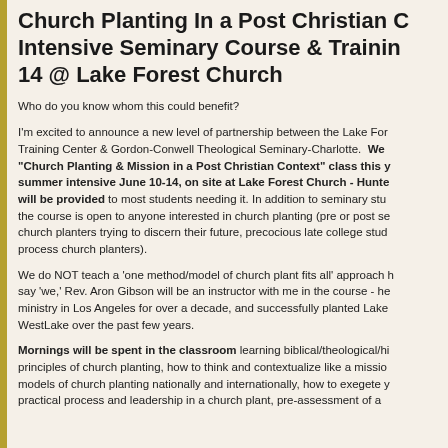Church Planting In a Post Christian Context Intensive Seminary Course & Training June 10-14 @ Lake Forest Church
Who do you know whom this could benefit?
I'm excited to announce a new level of partnership between the Lake Forest Training Center & Gordon-Conwell Theological Seminary-Charlotte. We will be offering a "Church Planting & Mission in a Post Christian Context" class this year as a summer intensive June 10-14, on site at Lake Forest Church - Huntersville. Aid will be provided to most students needing it. In addition to seminary students, the course is open to anyone interested in church planting (pre or post seminary, church planters trying to discern their future, precocious late college students, in process church planters).
We do NOT teach a 'one method/model of church plant fits all' approach here. When I say 'we,' Rev. Aron Gibson will be an instructor with me in the course - he has been in ministry in Los Angeles for over a decade, and successfully planted Lake Ave Church WestLake over the past few years.
Mornings will be spent in the classroom learning biblical/theological/historical principles of church planting, how to think and contextualize like a missionary, models of church planting nationally and internationally, how to exegete your context, practical process and leadership in a church plant, pre-assessment of a potential church planter, pre-assessment of an